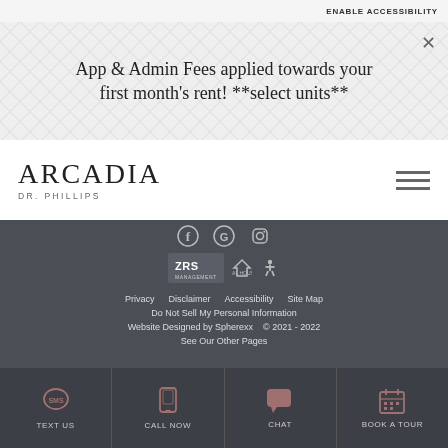ENABLE ACCESSIBILITY
App & Admin Fees applied towards your first month's rent! **select units**
[Figure (logo): Arcadia Dr. Phillips wordmark logo]
[Figure (illustration): Social media icons (Facebook, Google, Instagram), ZRS Management logo with equal housing and accessibility icons]
Privacy   Disclaimer   Accessibility   Site Map
Do Not Sell My Personal Information
Website Designed by Spherexx   © 2021 - 2022
See Our Other Pages
TEXT US   CALL NOW   CHAT   BOOK A TOUR